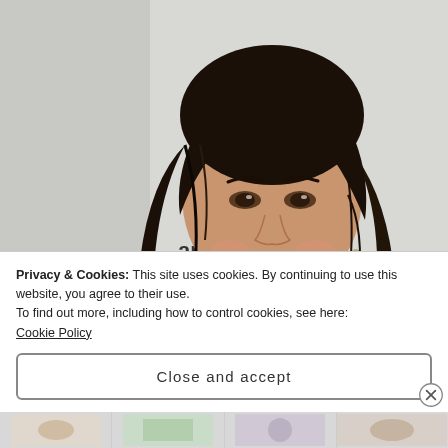[Figure (photo): A woman with long dark wavy hair wearing a green off-shoulder dress, posing at what appears to be an event with American Airlines branding visible in the background.]
Privacy & Cookies: This site uses cookies. By continuing to use this website, you agree to their use.
To find out more, including how to control cookies, see here:
Cookie Policy
Close and accept